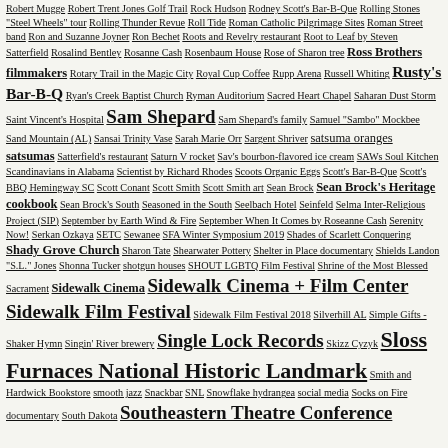Robert Mugge  Robert Trent Jones Golf Trail  Rock Hudson  Rodney Scott's Bar-B-Que  Rolling Stones "Steel Wheels" tour  Rolling Thunder Revue  Roll Tide  Roman Catholic Pilgrimage Sites  Roman Street band  Ron and Suzanne Joyner  Ron Bechet  Roots and Revelry restaurant  Root to Leaf by Steven Satterfield  Rosalind Bentley  Rosanne Cash  Rosenbaum House  Rose of Sharon tree  Ross Brothers filmmakers  Rotary Trail in the Magic City  Royal Cup Coffee  Rupp Arena  Russell Whiting  Rusty's Bar-B-Q  Ryan's Creek Baptist Church  Ryman Auditorium  Sacred Heart Chapel  Saharan Dust Storm  Saint Vincent's Hospital  Sam Shepard  Sam Shepard's family  Samuel "Sambo" Mockbee  Sand Mountain (AL)  Sansai Trinity Vase  Sarah Marie Orr  Sargent Shriver  satsuma oranges  satsumas  Satterfield's restaurant  Saturn V rocket  Sav's bourbon-flavored ice cream  SAWs Soul Kitchen  Scandinavians in Alabama  Scientist by Richard Rhodes  Scoots Organic Eggs  Scott's Bar-B-Que  Scott's BBQ Hemingway SC  Scott Conant  Scott Smith  Scott Smith art  Sean Brock  Sean Brock's Heritage cookbook  Sean Brock's South  Seasoned in the South  Seelbach Hotel  Seinfeld  Selma Inter-Religious Project (SIP)  September by Earth Wind & Fire  September When It Comes by Roseanne Cash  Serenity Now!  Serkan Ozkaya  SETC  Sewanee  SFA Winter Symposium 2019  Shades of Scarlett Conquering  Shady Grove Church  Sharon Tate  Shearwater Pottery  Shelter in Place documentary  Shields Landon "S.L." Jones  Shonna Tucker  shotgun houses  SHOUT LGBTQ Film Festival  Shrine of the Most Blessed Sacrament  Sidewalk Cinema  Sidewalk Cinema + Film Center  Sidewalk Film Festival  Sidewalk Film Festival 2018  Silverhill AL  Simple Gifts - Shaker Hymn  Singin' River brewery  Single Lock Records  Skizz Cyzyk  Sloss Furnaces National Historic Landmark  Smith and Hardwick Bookstore  smooth jazz  Snackbar  SNL  Snowflake hydrangea  social media  Socks on Fire documentary  South Dakota  Southeastern Theatre Conference